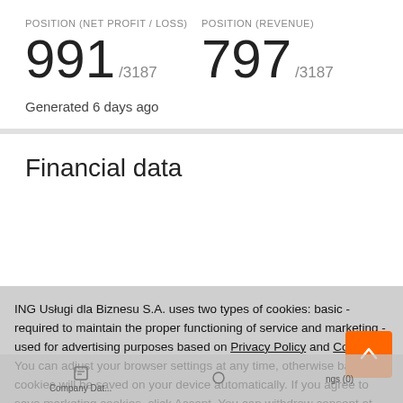POSITION (NET PROFIT / LOSS)
991 /3187
POSITION (REVENUE)
797 /3187
Generated 6 days ago
Financial data
ING Usługi dla Biznesu S.A. uses two types of cookies: basic - required to maintain the proper functioning of service and marketing - used for advertising purposes based on Privacy Policy and Cookies. You can adjust your browser settings at any time, otherwise basic cookies will be saved on your device automatically. If you agree to save marketing cookies, click Accept. You can withdraw consent at any time ur browser settings.
Accept
Close